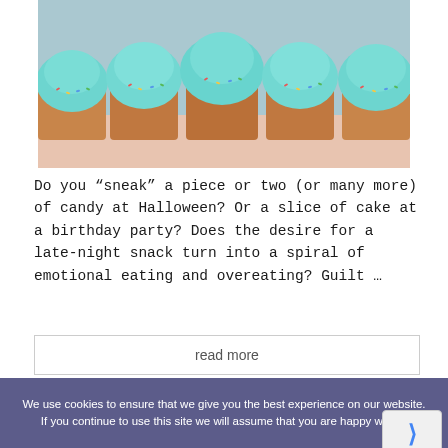[Figure (photo): Row of cupcakes with teal/mint frosting and colorful sprinkles on a light pink surface with a light blue background]
Do you “sneak” a piece or two (or many more) of candy at Halloween? Or a slice of cake at a birthday party? Does the desire for a late-night snack turn into a spiral of emotional eating and overeating? Guilt …
read more
We use cookies to ensure that we give you the best experience on our website. If you continue to use this site we will assume that you are happy with it.
October 15, 2021   Blog, Nutrition and Body
Image: Weight-loss Struggles and Body Positivity
Privacy Cookies